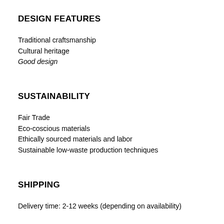DESIGN FEATURES
Traditional craftsmanship
Cultural heritage
Good design
SUSTAINABILITY
Fair Trade
Eco-coscious materials
Ethically sourced materials and labor
Sustainable low-waste production techniques
SHIPPING
Delivery time: 2-12 weeks (depending on availability)